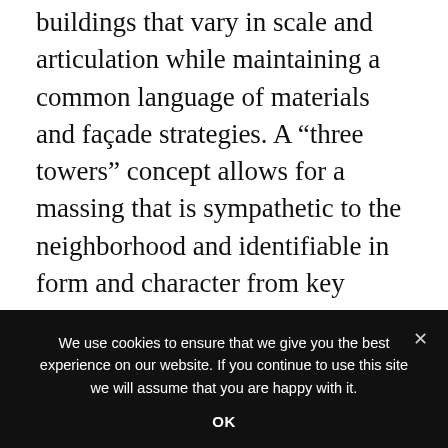buildings that vary in scale and articulation while maintaining a common language of materials and façade strategies. A “three towers” concept allows for a massing that is sympathetic to the neighborhood and identifiable in form and character from key vantage points within the city. It also simplifies wayfinding as each of the towers house a specific function: inpatient beds, ambulatory center and medical offices.
The forms closest to the street relate to the low and
We use cookies to ensure that we give you the best experience on our website. If you continue to use this site we will assume that you are happy with it.
OK